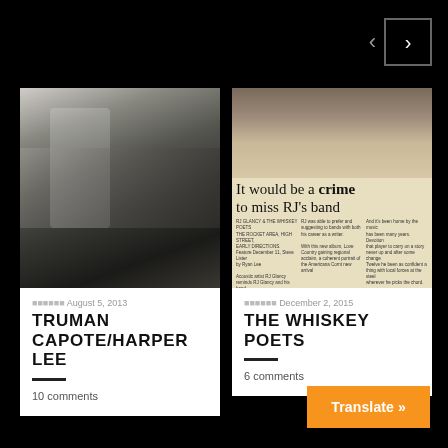[Figure (other): Navigation arrows and box on black background — left arrow, right arrow inside bordered box]
[Figure (photo): Black and white photograph of a person standing in a room with furniture]
August 5, 2013
TRUMAN CAPOTE/HARPER LEE
10 comments
[Figure (photo): Newspaper article scan showing a band playing instruments with headline 'It would be a crime to miss RJ's band']
December 2, 2015
THE WHISKEY POETS
6 comments
Translate »